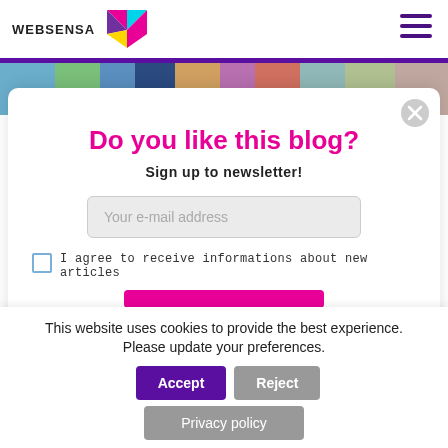[Figure (logo): WEBSENSA logo with colorful geometric diamond/arrow shape in pink, cyan, yellow, purple]
[Figure (illustration): Hamburger menu icon (three horizontal purple lines) in top right corner]
[Figure (photo): Colorful abstract background image strip below header]
Do you like this blog?
Sign up to newsletter!
Your e-mail address
I agree to receive informations about new articles
This website uses cookies to provide the best experience. Please update your preferences.
Accept
Reject
Privacy policy